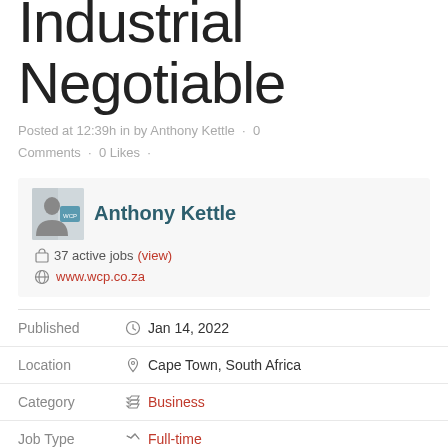Industrial Negotiable
Posted at 12:39h in by Anthony Kettle · 0 Comments · 0 Likes ·
Anthony Kettle · 37 active jobs (view) · www.wcp.co.za
Published   Jan 14, 2022
Location   Cape Town, South Africa
Category   Business
Job Type   Full-time